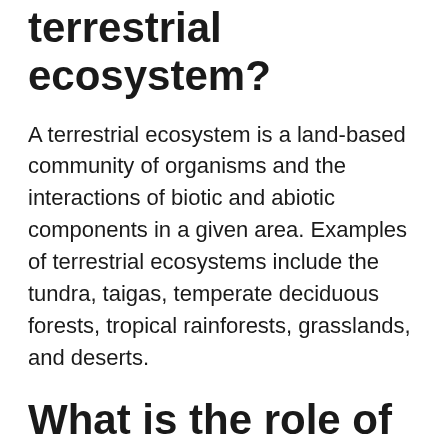terrestrial ecosystem?
A terrestrial ecosystem is a land-based community of organisms and the interactions of biotic and abiotic components in a given area. Examples of terrestrial ecosystems include the tundra, taigas, temperate deciduous forests, tropical rainforests, grasslands, and deserts.
What is the role of primary producers in an ecosystem?
Primary producers are the foundation of an ecosystem. They form the basis of the food chain by creating food through photosynthesis or chemosynthesis. ... In most cases, primary producers use